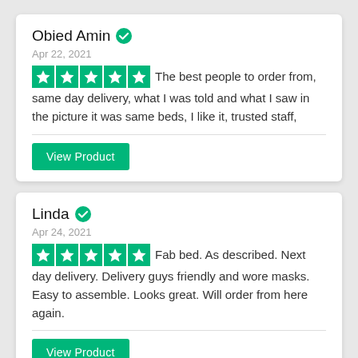Obied Amin [verified]
Apr 22, 2021
The best people to order from, same day delivery, what I was told and what I saw in the picture it was same beds, I like it, trusted staff,
View Product
Linda [verified]
Apr 24, 2021
Fab bed. As described. Next day delivery. Delivery guys friendly and wore masks. Easy to assemble. Looks great. Will order from here again.
View Product